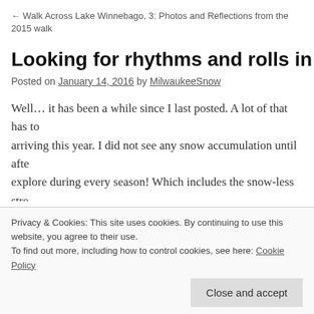← Walk Across Lake Winnebago, 3: Photos and Reflections from the 2015 walk
Looking for rhythms and rolls in this late…
Posted on January 14, 2016 by MilwaukeeSnow
Well… it has been a while since I last posted. A lot of that has to do with snow not arriving this year. I did not see any snow accumulation until afte… explore during every season! Which includes the snow-less stre… hard to get motivated to write 'MilwaukeeSnow' posts… when months!
But cold winter weather eventually arrived – I've had the chance… experienced a legitimate deep-cold spell. Since the temperature…
Privacy & Cookies: This site uses cookies. By continuing to use this website, you agree to their use.
To find out more, including how to control cookies, see here: Cookie Policy
Close and accept